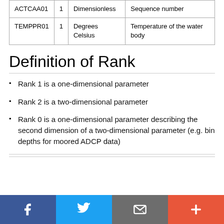|  |  |  |  |
| --- | --- | --- | --- |
| ACTCAA01 | 1 | Dimensionless | Sequence number |
| TEMPPR01 | 1 | Degrees Celsius | Temperature of the water body |
Definition of Rank
Rank 1 is a one-dimensional parameter
Rank 2 is a two-dimensional parameter
Rank 0 is a one-dimensional parameter describing the second dimension of a two-dimensional parameter (e.g. bin depths for moored ADCP data)
Social share bar: Facebook, Twitter, Email, More